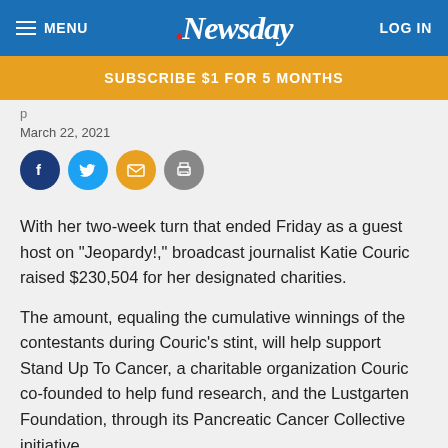MENU | Newsday | LOG IN
SUBSCRIBE $1 FOR 5 MONTHS
March 22, 2021
[Figure (other): Social sharing icons: Facebook, Twitter, Email, Print]
With her two-week turn that ended Friday as a guest host on "Jeopardy!," broadcast journalist Katie Couric raised $230,504 for her designated charities.
The amount, equaling the cumulative winnings of the contestants during Couric's stint, will help support Stand Up To Cancer, a charitable organization Couric co-founded to help fund research, and the Lustgarten Foundation, through its Pancreatic Cancer Collective initiative.
The cause was close to her, with Couric's sister Emily, a